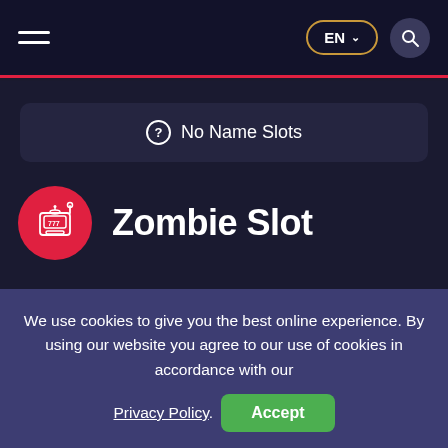EN ∨  🔍
No Name Slots
Zombie Slot
Home — No Name Slots — Zombie Slot
We use cookies to give you the best online experience. By using our website you agree to our use of cookies in accordance with our Privacy Policy. Accept